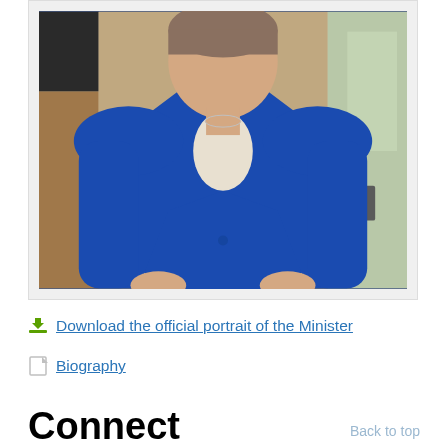[Figure (photo): Official portrait photo of a Minister wearing a blue blazer over a white top, standing in an office setting with wooden furniture and a window in the background]
Download the official portrait of the Minister
Biography
Connect
Back to top